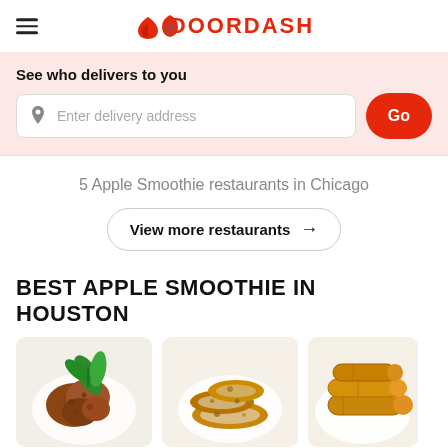DOORDASH
See who delivers to you
Enter delivery address
Go
5 Apple Smoothie restaurants in Chicago
View more restaurants →
BEST APPLE SMOOTHIE IN HOUSTON
[Figure (photo): Three food item photos: fried chicken with basil garnish, fried onion rings, and spring rolls on white plates]
[Figure (photo): Fried onion rings on a white plate]
[Figure (photo): Spring rolls on a white plate, partially visible]